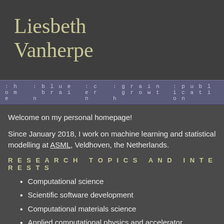Liesbeth Vanherpe
:home  :blue brain  :cern  :grain growth  :publication
Welcome on my personal homepage!
Since January 2018, I work on machine learning and statistical modelling at ASML, Veldhoven, the Netherlands.
RESEARCH TOPICS AND INTERESTS
Computational science
Scientific software development
Computational materials science
Applied computational physics and accelerator technology
Computational neuroscience and biology